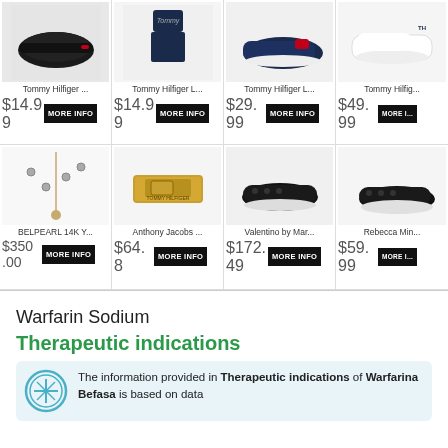[Figure (screenshot): E-commerce ad banner showing 8 products in a 4x2 grid: Tommy Hilfiger slides $14.99, Tommy Hilfiger L... bikini $14.99, Tommy Hilfiger L... sneakers $29.99, Tommy Hilfiger sneakers $49.99, BELPEARL 14K Y... necklace $350.00, Anthony Jacobs ... bracelet $64.8, Valentino by Mar... black sneakers $172.49, Rebecca Min... black sneakers $59.99. Each product has a MORE INFO button.]
Warfarin Sodium
Therapeutic indications
The information provided in Therapeutic indications of Warfarina Befasa is based on data